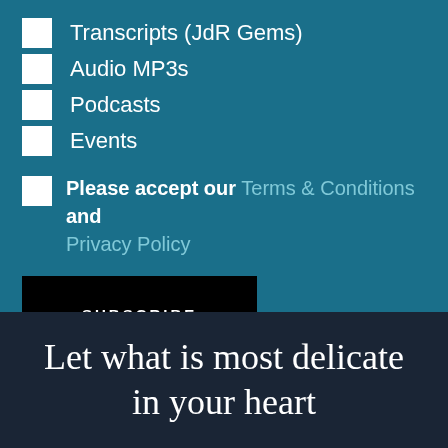Transcripts (JdR Gems)
Audio MP3s
Podcasts
Events
Please accept our Terms & Conditions and Privacy Policy
SUBSCRIBE
Let what is most delicate in your heart